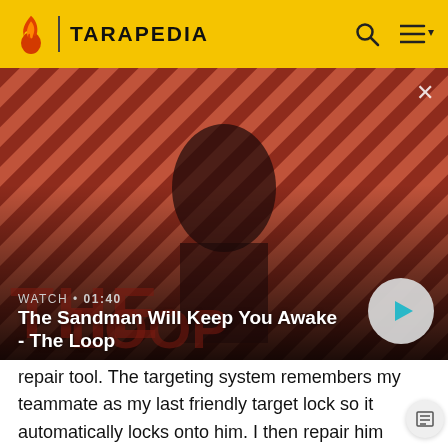TARAPEDIA
[Figure (photo): Promotional image for 'The Sandman Will Keep You Awake - The Loop' showing a dark-clothed male figure with a raven on his shoulder against a red and dark diagonal striped background. Overlay shows watch time 01:40, title text, and a play button.]
repair tool. The targeting system remembers my teammate as my last friendly target lock so it automatically locks onto him. I then repair him and switch back to my leech gun. The targeting system remembers that miniboss as my last locked on hostile target and automatically locks back to him.